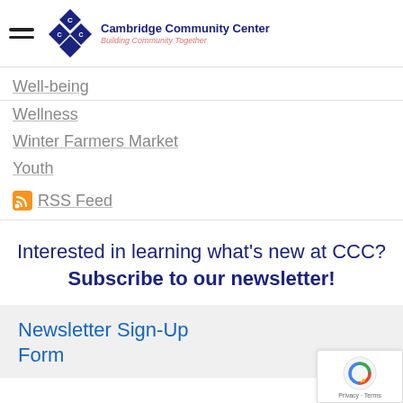Cambridge Community Center - Building Community Together
Well-being
Wellness
Winter Farmers Market
Youth
RSS Feed
Interested in learning what's new at CCC? Subscribe to our newsletter!
Newsletter Sign-Up Form